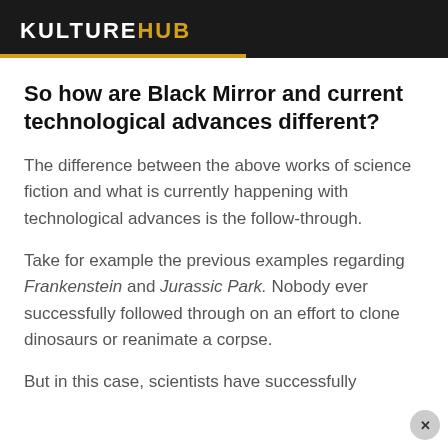KULTUREHUB
So how are Black Mirror and current technological advances different?
The difference between the above works of science fiction and what is currently happening with technological advances is the follow-through.
Take for example the previous examples regarding Frankenstein and Jurassic Park. Nobody ever successfully followed through on an effort to clone dinosaurs or reanimate a corpse.
But in this case, scientists have successfully